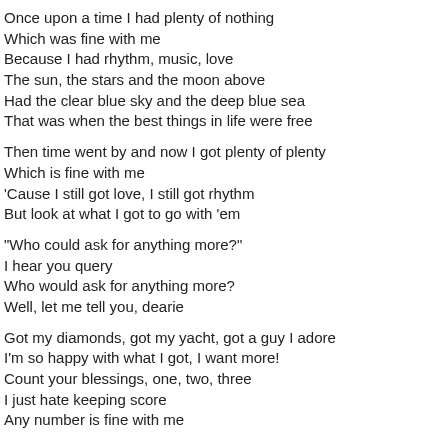Once upon a time I had plenty of nothing
Which was fine with me
Because I had rhythm, music, love
The sun, the stars and the moon above
Had the clear blue sky and the deep blue sea
That was when the best things in life were free
Then time went by and now I got plenty of plenty
Which is fine with me
'Cause I still got love, I still got rhythm
But look at what I got to go with 'em
"Who could ask for anything more?"
I hear you query
Who would ask for anything more?
Well, let me tell you, dearie
Got my diamonds, got my yacht, got a guy I adore
I'm so happy with what I got, I want more!
Count your blessings, one, two, three
I just hate keeping score
Any number is fine with me